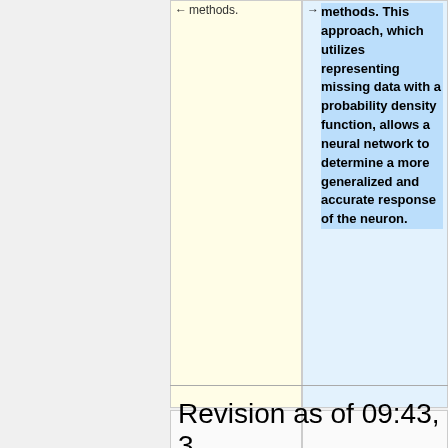methods.
methods. This approach, which utilizes representing missing data with a probability density function, allows a neural network to determine a more generalized and accurate response of the neuron.
== Critiques ==
== Critiques ==
Revision as of 09:43, 3